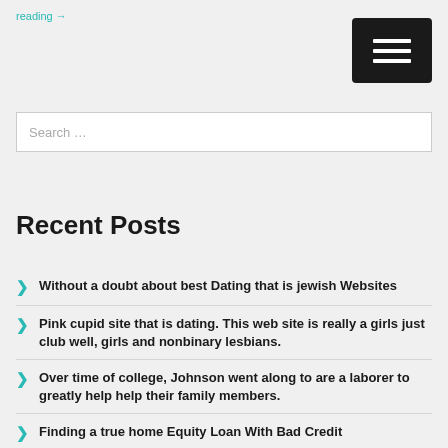reading →
Recent Posts
Without a doubt about best Dating that is jewish Websites
Pink cupid site that is dating. This web site is really a girls just club well, girls and nonbinary lesbians.
Over time of college, Johnson went along to are a laborer to greatly help help their family members.
Finding a true home Equity Loan With Bad Credit
Hello world